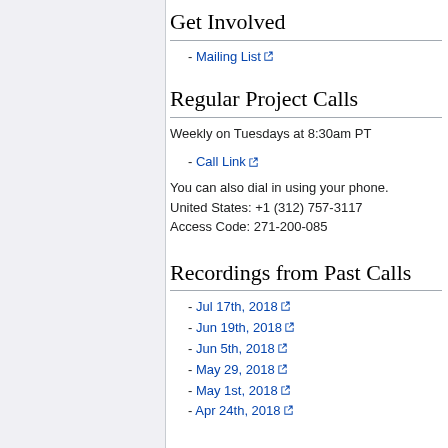Get Involved
- Mailing List
Regular Project Calls
Weekly on Tuesdays at 8:30am PT
- Call Link
You can also dial in using your phone.
United States: +1 (312) 757-3117
Access Code: 271-200-085
Recordings from Past Calls
- Jul 17th, 2018
- Jun 19th, 2018
- Jun 5th, 2018
- May 29, 2018
- May 1st, 2018
- Apr 24th, 2018